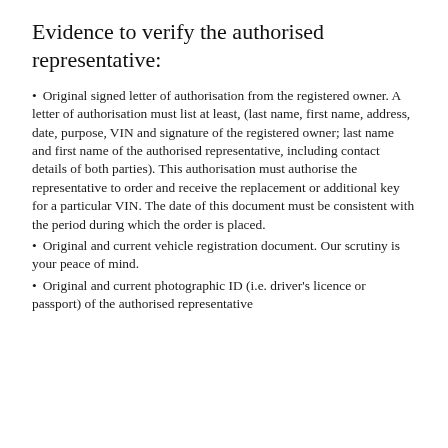Evidence to verify the authorised representative:
Original signed letter of authorisation from the registered owner. A letter of authorisation must list at least, (last name, first name, address, date, purpose, VIN and signature of the registered owner; last name and first name of the authorised representative, including contact details of both parties). This authorisation must authorise the representative to order and receive the replacement or additional key for a particular VIN. The date of this document must be consistent with the period during which the order is placed.
Original and current vehicle registration document. Our scrutiny is your peace of mind.
Original and current photographic ID (i.e. driver's licence or passport) of the authorised representative